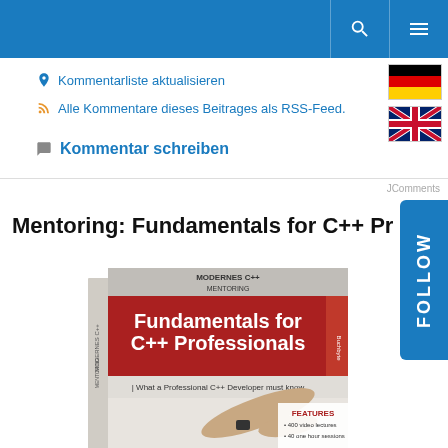Navigation header with search and menu icons
Kommentarliste aktualisieren
Alle Kommentare dieses Beitrages als RSS-Feed.
[Figure (illustration): German flag]
[Figure (illustration): UK flag]
Kommentar schreiben
JComments
Mentoring: Fundamentals for C++ Professional
[Figure (photo): Book cover: Modernes C++ Mentoring - Fundamentals for C++ Professionals. What a Professional C++ Developer must know. Features: 400 video lectures, 40 one hour sessions.]